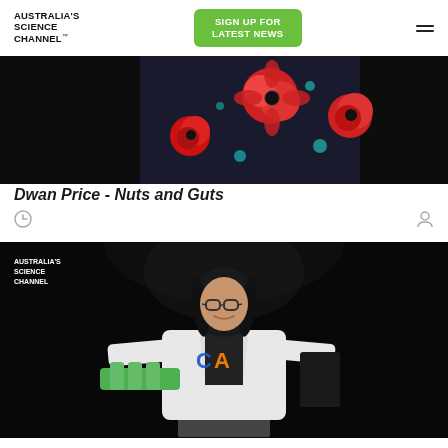AUSTRALIA'S SCIENCE CHANNEL™  |  SIGN UP FOR LATEST NEWS
[Figure (photo): Dark stage performance photo showing colorful floral-patterned garment against black background]
Dwan Price - Nuts and Guts
Clock icon and user icon metadata row
[Figure (photo): Young woman in white lab coat with colorful logo on stage, holding a tray with green items and a black folder, Australia's Science Channel watermark visible]